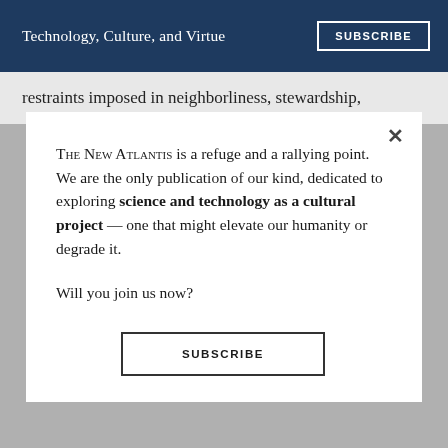Technology, Culture, and Virtue
restraints imposed in neighborliness, stewardship,
The New Atlantis is a refuge and a rallying point. We are the only publication of our kind, dedicated to exploring science and technology as a cultural project — one that might elevate our humanity or degrade it.

Will you join us now?
SUBSCRIBE